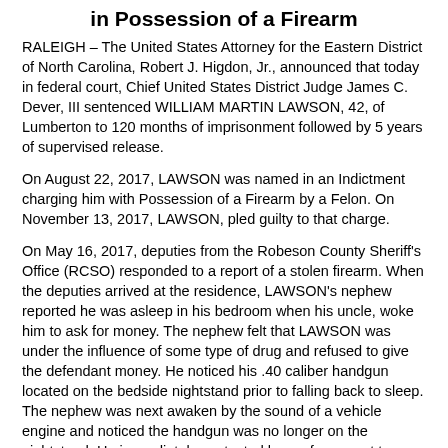in Possession of a Firearm
RALEIGH – The United States Attorney for the Eastern District of North Carolina, Robert J. Higdon, Jr., announced that today in federal court, Chief United States District Judge James C. Dever, III sentenced WILLIAM MARTIN LAWSON, 42, of Lumberton to 120 months of imprisonment followed by 5 years of supervised release.
On August 22, 2017, LAWSON was named in an Indictment charging him with Possession of a Firearm by a Felon. On November 13, 2017, LAWSON, pled guilty to that charge.
On May 16, 2017, deputies from the Robeson County Sheriff's Office (RCSO) responded to a report of a stolen firearm. When the deputies arrived at the residence, LAWSON's nephew reported he was asleep in his bedroom when his uncle, woke him to ask for money. The nephew felt that LAWSON was under the influence of some type of drug and refused to give the defendant money. He noticed his .40 caliber handgun located on the bedside nightstand prior to falling back to sleep. The nephew was next awaken by the sound of a vehicle engine and noticed the handgun was no longer on the nightstand. He immediately contacted law enforcement to report the firearm stolen by LAWSON. RCSO deputies were able to locate LAWSON's vehicle and initiated a traffic stop. The defendant...